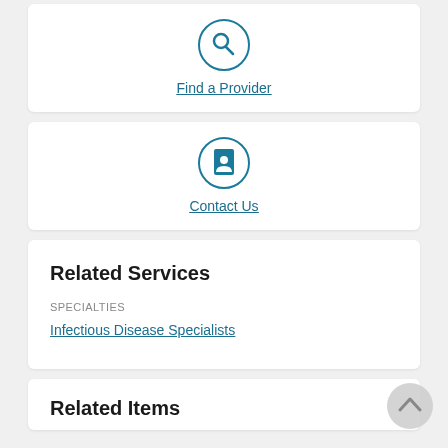[Figure (illustration): Circular icon with a magnifying glass symbol in teal/dark cyan color]
Find a Provider
[Figure (illustration): Circular icon with a person/contact card symbol in teal/dark cyan color]
Contact Us
Related Services
SPECIALTIES
Infectious Disease Specialists
Related Items